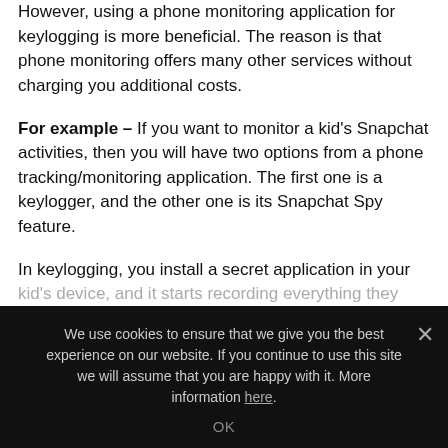However, using a phone monitoring application for keylogging is more beneficial. The reason is that phone monitoring offers many other services without charging you additional costs.
For example – If you want to monitor a kid's Snapchat activities, then you will have two options from a phone tracking/monitoring application. The first one is a keylogger, and the other one is its Snapchat Spy feature.
In keylogging, you install a secret application in your kid's device, and it starts recording everything they
We use cookies to ensure that we give you the best experience on our website. If you continue to use this site we will assume that you are happy with it. More information here. OK